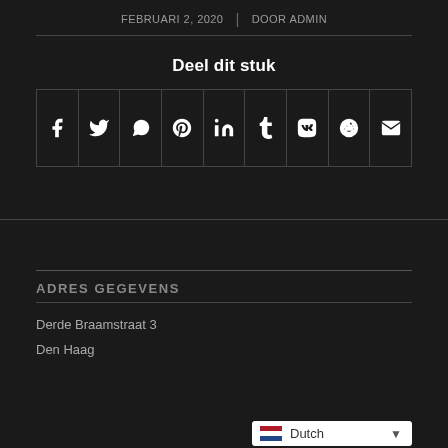FEBRUARI 2, 2020 | DOOR ADMIN
Deel dit stuk
[Figure (infographic): Row of 9 social share buttons: Facebook, Twitter, WhatsApp, Pinterest, LinkedIn, Tumblr, VK, Reddit, Email]
ADRES GEGEVENS
Derde Braamstraat 3
Den Haag
Dutch (language selector widget)